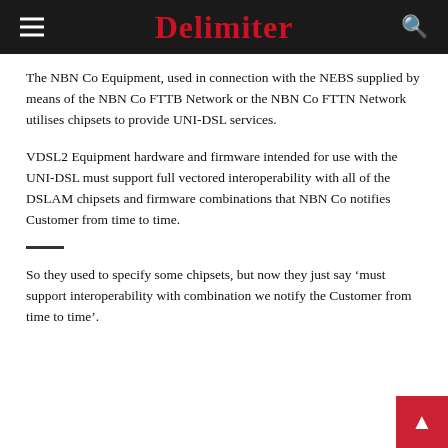Delimiter
The NBN Co Equipment, used in connection with the NEBS supplied by means of the NBN Co FTTB Network or the NBN Co FTTN Network utilises chipsets to provide UNI-DSL services.
VDSL2 Equipment hardware and firmware intended for use with the UNI-DSL must support full vectored interoperability with all of the DSLAM chipsets and firmware combinations that NBN Co notifies Customer from time to time.
So they used to specify some chipsets, but now they just say ‘must support interoperability with combination we notify the Customer from time to time’.